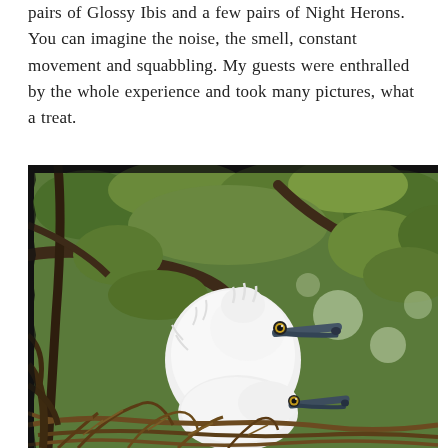pairs of Glossy Ibis and a few pairs of Night Herons. You can imagine the noise, the smell, constant movement and squabbling. My guests were enthralled by the whole experience and took many pictures, what a treat.
[Figure (photo): Close-up photograph of two fluffy white baby herons (chicks) sitting in a stick nest surrounded by green leafy tree branches. The chicks have white downy feathers, dark beaks, and yellow eyes.]